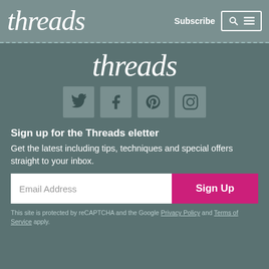threads  Subscribe
threads
[Figure (logo): Four social media icons: Twitter, Facebook, Pinterest, Instagram]
Sign up for the Threads eletter
Get the latest including tips, techniques and special offers straight to your inbox.
Email Address  Sign Up
This site is protected by reCAPTCHA and the Google Privacy Policy and Terms of Service apply.